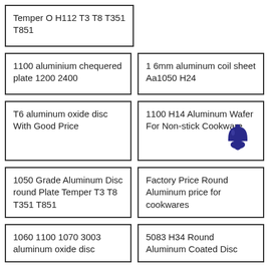Temper O H112 T3 T8 T351 T851
1100 aluminium chequered plate 1200 2400
1 6mm aluminum coil sheet Aa1050 H24
T6 aluminum oxide disc With Good Price
1100 H14 Aluminum Wafer For Non-stick Cookware
1050 Grade Aluminum Disc round Plate Temper T3 T8 T351 T851
Factory Price Round Aluminum price for cookwares
1060 1100 1070 3003 aluminum oxide disc
5083 H34 Round Aluminum Coated Disc